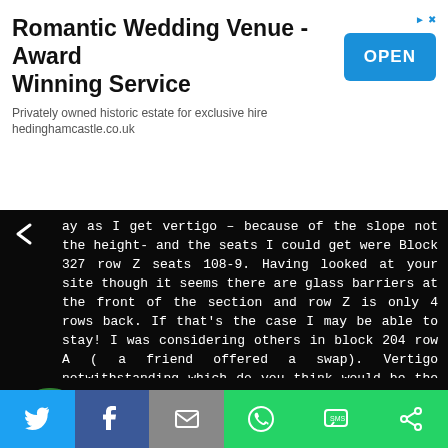[Figure (screenshot): Advertisement banner for Romantic Wedding Venue - Award Winning Service with OPEN button]
ay as I get vertigo – because of the slope not the height- and the seats I could get were Block 327 row Z seats 108-9. Having looked at your site though it seems there are glass barriers at the front of the section and row Z is only 4 rows back. If that's the case I may be able to stay! I was considering others in block 204 row A ( a friend offered a swap). Vertigo notwithstanding which do you think would be the better? Thanks
↵ Reply
admin
October 22, 2014 at 11:04 pm
Hey Alison – thanks for letting us off the hook as regards the Vertigo, that's a tough call for us! The sound might be slightly
[Figure (infographic): Social sharing bar with Twitter, Facebook, Email, WhatsApp, SMS, and other share buttons]